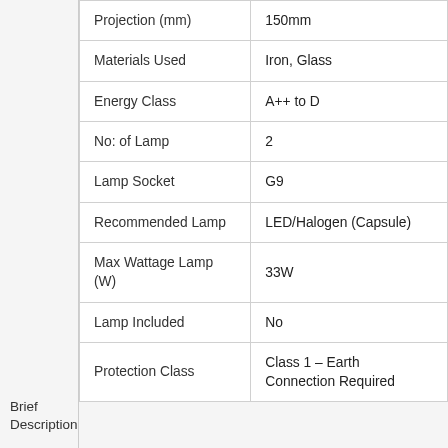| Property | Value |
| --- | --- |
| Projection (mm) | 150mm |
| Materials Used | Iron, Glass |
| Energy Class | A++ to D |
| No: of Lamp | 2 |
| Lamp Socket | G9 |
| Recommended Lamp | LED/Halogen (Capsule) |
| Max Wattage Lamp (W) | 33W |
| Lamp Included | No |
| Protection Class | Class 1 – Earth Connection Required |
Brief Description